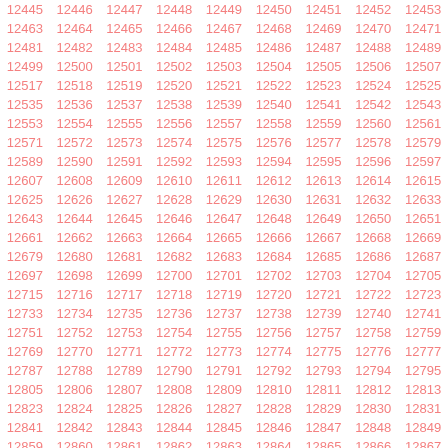| 12445 | 12446 | 12447 | 12448 | 12449 | 12450 | 12451 | 12452 | 12453 |
| 12463 | 12464 | 12465 | 12466 | 12467 | 12468 | 12469 | 12470 | 12471 |
| 12481 | 12482 | 12483 | 12484 | 12485 | 12486 | 12487 | 12488 | 12489 |
| 12499 | 12500 | 12501 | 12502 | 12503 | 12504 | 12505 | 12506 | 12507 |
| 12517 | 12518 | 12519 | 12520 | 12521 | 12522 | 12523 | 12524 | 12525 |
| 12535 | 12536 | 12537 | 12538 | 12539 | 12540 | 12541 | 12542 | 12543 |
| 12553 | 12554 | 12555 | 12556 | 12557 | 12558 | 12559 | 12560 | 12561 |
| 12571 | 12572 | 12573 | 12574 | 12575 | 12576 | 12577 | 12578 | 12579 |
| 12589 | 12590 | 12591 | 12592 | 12593 | 12594 | 12595 | 12596 | 12597 |
| 12607 | 12608 | 12609 | 12610 | 12611 | 12612 | 12613 | 12614 | 12615 |
| 12625 | 12626 | 12627 | 12628 | 12629 | 12630 | 12631 | 12632 | 12633 |
| 12643 | 12644 | 12645 | 12646 | 12647 | 12648 | 12649 | 12650 | 12651 |
| 12661 | 12662 | 12663 | 12664 | 12665 | 12666 | 12667 | 12668 | 12669 |
| 12679 | 12680 | 12681 | 12682 | 12683 | 12684 | 12685 | 12686 | 12687 |
| 12697 | 12698 | 12699 | 12700 | 12701 | 12702 | 12703 | 12704 | 12705 |
| 12715 | 12716 | 12717 | 12718 | 12719 | 12720 | 12721 | 12722 | 12723 |
| 12733 | 12734 | 12735 | 12736 | 12737 | 12738 | 12739 | 12740 | 12741 |
| 12751 | 12752 | 12753 | 12754 | 12755 | 12756 | 12757 | 12758 | 12759 |
| 12769 | 12770 | 12771 | 12772 | 12773 | 12774 | 12775 | 12776 | 12777 |
| 12787 | 12788 | 12789 | 12790 | 12791 | 12792 | 12793 | 12794 | 12795 |
| 12805 | 12806 | 12807 | 12808 | 12809 | 12810 | 12811 | 12812 | 12813 |
| 12823 | 12824 | 12825 | 12826 | 12827 | 12828 | 12829 | 12830 | 12831 |
| 12841 | 12842 | 12843 | 12844 | 12845 | 12846 | 12847 | 12848 | 12849 |
| 12859 | 12860 | 12861 | 12862 | 12863 | 12864 | 12865 | 12866 | 12867 |
| 12877 | 12878 | 12879 | 12880 | 12881 | 12882 | 12883 | 12884 | 12885 |
| 12895 | 12896 | 12897 | 12898 | 12899 | 12900 | 12901 | 12902 | 12903 |